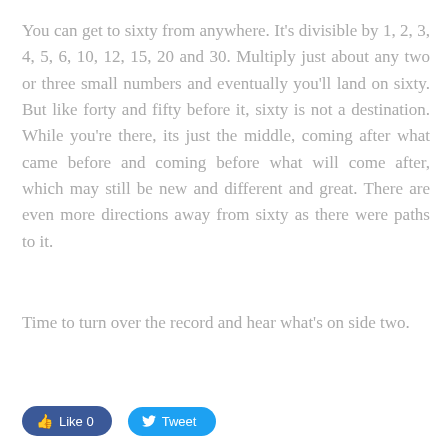You can get to sixty from anywhere. It's divisible by 1, 2, 3, 4, 5, 6, 10, 12, 15, 20 and 30. Multiply just about any two or three small numbers and eventually you'll land on sixty. But like forty and fifty before it, sixty is not a destination. While you're there, its just the middle, coming after what came before and coming before what will come after, which may still be new and different and great. There are even more directions away from sixty as there were paths to it.
Time to turn over the record and hear what's on side two.